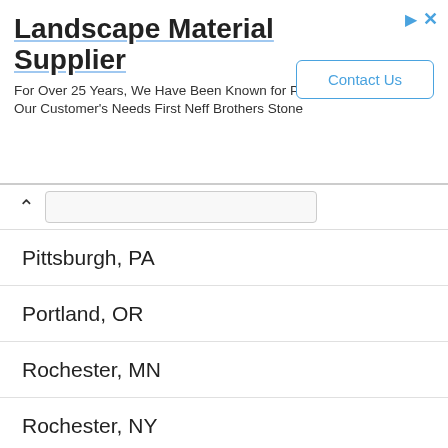[Figure (screenshot): Advertisement banner for Landscape Material Supplier - Neff Brothers Stone with Contact Us button]
Pittsburgh, PA
Portland, OR
Rochester, MN
Rochester, NY
Sacramento, CA
Salt Lake City, UT
San Antonio, TX
San Bernardino, CA